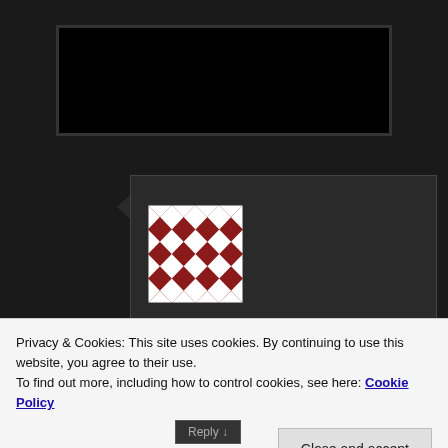[Figure (illustration): Dark background with a black rectangle/image placeholder at the top of the page]
[Figure (illustration): User avatar image with red and white geometric pinwheel/quilt pattern design]
Tomas on June 21, 2019 at 8:34 am said:
Dear Dan, this is very interesting project :). I am watching your schematic diagrams and I would like to ask you of one thing. Where is connected PREAMP+ and PREAMP- ? I suppose that PREAMP+ is output signal from preamplifier and
Privacy & Cookies: This site uses cookies. By continuing to use this website, you agree to their use.
To find out more, including how to control cookies, see here: Cookie Policy
Close and accept
Reply ↓